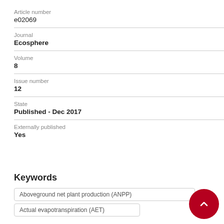Article number
e02069
Journal
Ecosphere
Volume
8
Issue number
12
State
Published - Dec 2017
Externally published
Yes
Keywords
Aboveground net plant production (ANPP)
Actual evapotranspiration (AET)